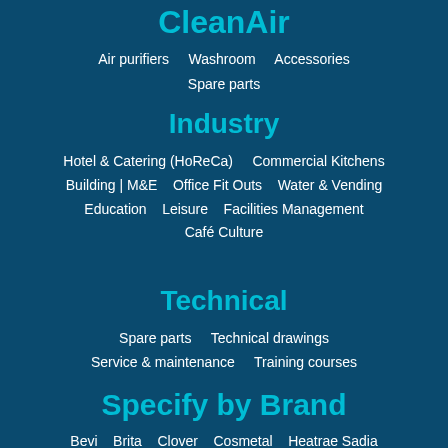CleanAir
Air purifiers   Washroom   Accessories
Spare parts
Industry
Hotel & Catering (HoReCa)   Commercial Kitchens
Building | M&E   Office Fit Outs   Water & Vending
Education   Leisure   Facilities Management
Café Culture
Technical
Spare parts   Technical drawings
Service & maintenance   Training courses
Specify by Brand
Bevi   Brita   Clover   Cosmetal   Heatrae Sadia